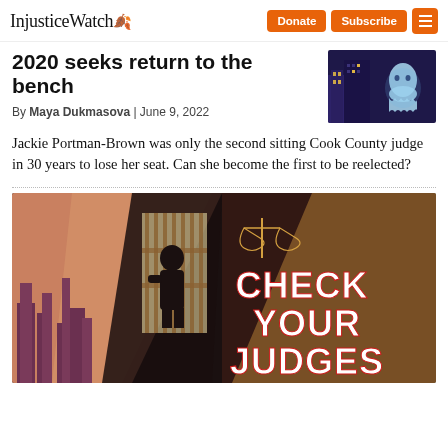InjusticeWatch
2020 seeks return to the bench
By Maya Dukmasova | June 9, 2022
Jackie Portman-Brown was only the second sitting Cook County judge in 30 years to lose her seat. Can she become the first to be reelected?
[Figure (illustration): Illustrated image of a courthouse scene at night with stylized city buildings and the text CHECK YOUR JUDGES in bold white letters on a dark background with orange and pink geometric shapes]
[Figure (illustration): Small thumbnail image showing a ghost-like figure in a dark blue illustrated scene]